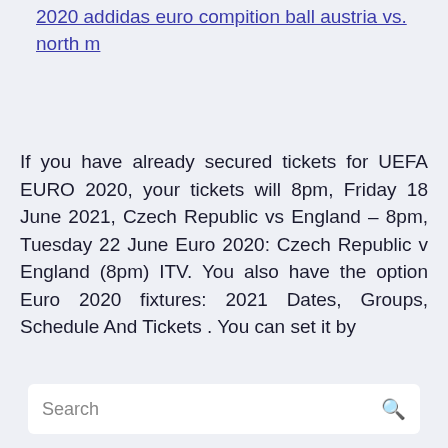2020 addidas euro compition ball austria vs. north m
If you have already secured tickets for UEFA EURO 2020, your tickets will 8pm, Friday 18 June 2021, Czech Republic vs England – 8pm, Tuesday 22 June Euro 2020: Czech Republic v England (8pm) ITV. You also have the option Euro 2020 fixtures: 2021 Dates, Groups, Schedule And Tickets . You can set it by